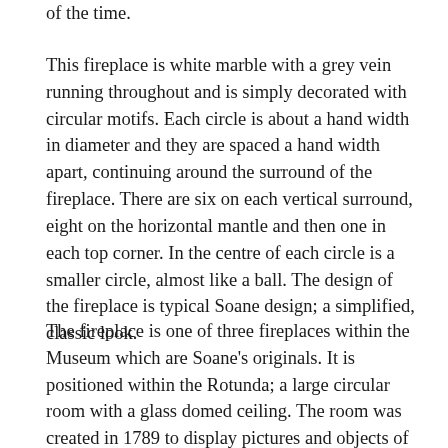of the time.
This fireplace is white marble with a grey vein running throughout and is simply decorated with circular motifs. Each circle is about a hand width in diameter and they are spaced a hand width apart, continuing around the surround of the fireplace. There are six on each vertical surround, eight on the horizontal mantle and then one in each top corner. In the centre of each circle is a smaller circle, almost like a ball. The design of the fireplace is typical Soane design; a simplified, classic look.
The fireplace is one of three fireplaces within the Museum which are Soane's originals. It is positioned within the Rotunda; a large circular room with a glass domed ceiling. The room was created in 1789 to display pictures and objects of virtue for the 1st